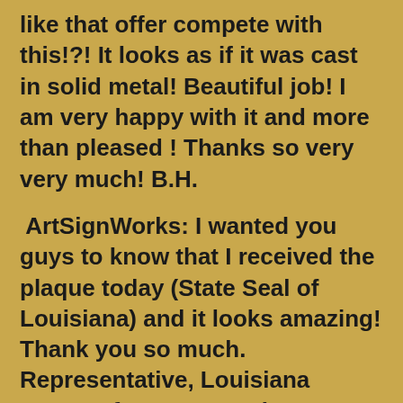like that offer compete with this!?! It looks as if it was cast in solid metal! Beautiful job! I am very happy with it and more than pleased ! Thanks so very very much! B.H.
ArtSignWorks: I wanted you guys to know that I received the plaque today (State Seal of Louisiana) and it looks amazing! Thank you so much. Representative, Louisiana House of Representatives Thanks
To Kevin, Christie & Everybody at Art Sign Works: We just received our finished plaque today and we are giddy, overwhelmed, and